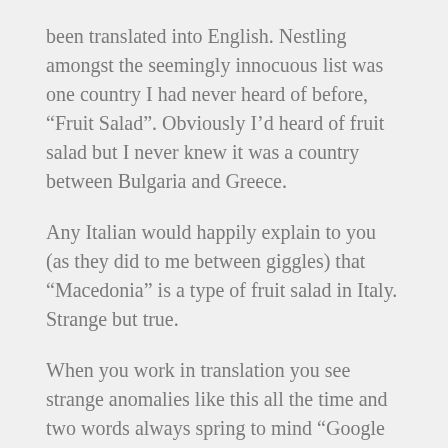been translated into English. Nestling amongst the seemingly innocuous list was one country I had never heard of before, “Fruit Salad”. Obviously I’d heard of fruit salad but I never knew it was a country between Bulgaria and Greece.
Any Italian would happily explain to you (as they did to me between giggles) that “Macedonia” is a type of fruit salad in Italy. Strange but true.
When you work in translation you see strange anomalies like this all the time and two words always spring to mind “Google Translate”. That’s a little unfair as other online translation tools are capable of providing equally amusing mistranslations. The Internet abounds with examples that you can read through and chuckle over on your coffee break. The laughter would quickly cease however, if you discovered that it